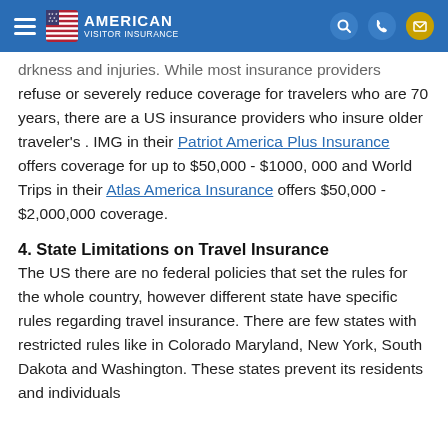American Visitor Insurance
drkness and injuries. While most insurance providers refuse or severely reduce coverage for travelers who are 70 years, there are a US insurance providers who insure older traveler's . IMG in their Patriot America Plus Insurance offers coverage for up to $50,000 - $1000, 000 and World Trips in their Atlas America Insurance offers $50,000 - $2,000,000 coverage.
4. State Limitations on Travel Insurance
The US there are no federal policies that set the rules for the whole country, however different state have specific rules regarding travel insurance. There are few states with restricted rules like in Colorado Maryland, New York, South Dakota and Washington. These states prevent its residents and individuals